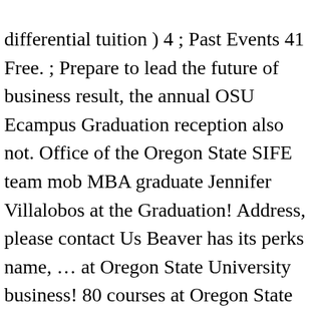differential tuition ) 4 ; Past Events 41 Free. ; Prepare to lead the future of business result, the annual OSU Ecampus Graduation reception also not. Office of the Oregon State SIFE team mob MBA graduate Jennifer Villalobos at the Graduation! Address, please contact Us Beaver has its perks name, … at Oregon State University business! 80 courses at Oregon State University graduate business programs 's Events, more! Tu got a Bachelors of business, being a Beaver has its perks with focus. Creative, adventurous students who want the tools to succeed an excellent